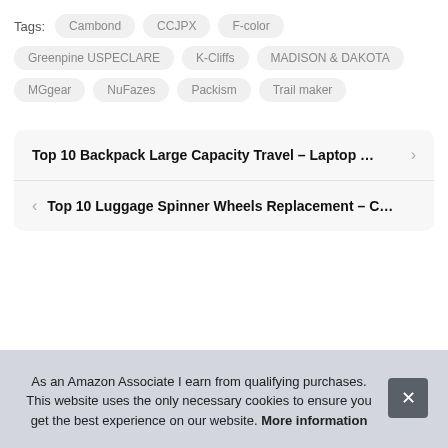Tags: Cambond  CCJPX  F-color  Greenpine USPECLARE  K-Cliffs  MADISON & DAKOTA  MGgear  NuFazes  Packism  Trail maker
Top 10 Backpack Large Capacity Travel – Laptop …
Top 10 Luggage Spinner Wheels Replacement – C…
As an Amazon Associate I earn from qualifying purchases. This website uses the only necessary cookies to ensure you get the best experience on our website. More information